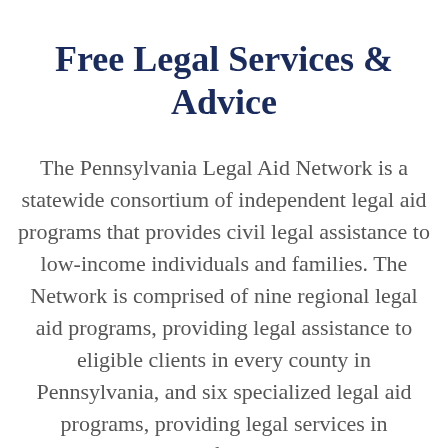Free Legal Services & Advice
The Pennsylvania Legal Aid Network is a statewide consortium of independent legal aid programs that provides civil legal assistance to low-income individuals and families. The Network is comprised of nine regional legal aid programs, providing legal assistance to eligible clients in every county in Pennsylvania, and six specialized legal aid programs, providing legal services in specialized areas of the law or to special groups of